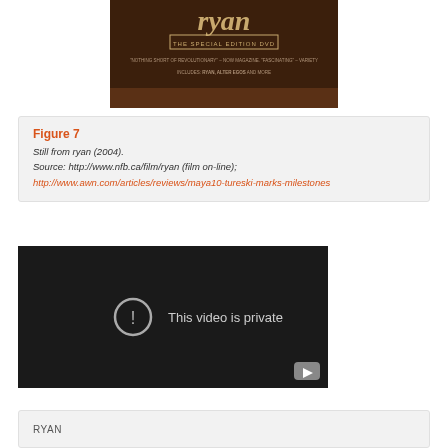[Figure (photo): DVD cover image for 'ryan' – The Special Edition DVD, showing brown background with stylized text and credits]
Figure 7
Still from ryan (2004).
Source: http://www.nfb.ca/film/ryan (film on-line);
http://www.awn.com/articles/reviews/maya10-tureski-marks-milestones
[Figure (screenshot): Embedded video player showing 'This video is private' message with YouTube logo]
RYAN